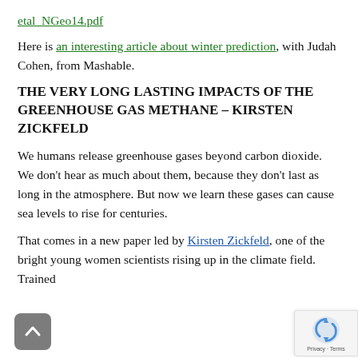etal_NGeo14.pdf
Here is an interesting article about winter prediction, with Judah Cohen, from Mashable.
THE VERY LONG LASTING IMPACTS OF THE GREENHOUSE GAS METHANE – KIRSTEN ZICKFELD
We humans release greenhouse gases beyond carbon dioxide. We don't hear as much about them, because they don't last as long in the atmosphere. But now we learn these gases can cause sea levels to rise for centuries.
That comes in a new paper led by Kirsten Zickfeld, one of the bright young women scientists rising up in the climate field. Trained